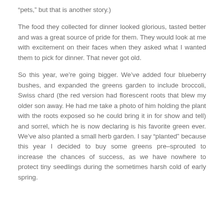“pets,” but that is another story.)
The food they collected for dinner looked glorious, tasted better and was a great source of pride for them. They would look at me with excitement on their faces when they asked what I wanted them to pick for dinner. That never got old.
So this year, we’re going bigger. We’ve added four blueberry bushes, and expanded the greens garden to include broccoli, Swiss chard (the red version had florescent roots that blew my older son away. He had me take a photo of him holding the plant with the roots exposed so he could bring it in for show and tell) and sorrel, which he is now declaring is his favorite green ever. We’ve also planted a small herb garden. I say “planted” because this year I decided to buy some greens pre-sprouted to increase the chances of success, as we have nowhere to protect tiny seedlings during the sometimes harsh cold of early spring.